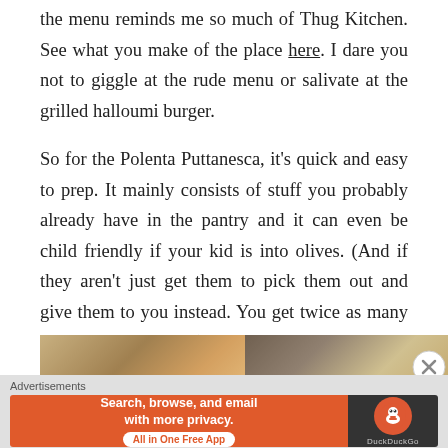the menu reminds me so much of Thug Kitchen. See what you make of the place here. I dare you not to giggle at the rude menu or salivate at the grilled halloumi burger.
So for the Polenta Puttanesca, it's quick and easy to prep. It mainly consists of stuff you probably already have in the pantry and it can even be child friendly if your kid is into olives. (And if they aren't just get them to pick them out and give them to you instead. You get twice as many olives, it's a win-win.)
[Figure (photo): Two food preparation photos side by side: left shows ingredients including what appears to be pasta or polenta with vegetables, right shows a whisk in a pan with a pale creamy mixture]
Advertisements
[Figure (screenshot): DuckDuckGo advertisement banner: orange left section reads 'Search, browse, and email with more privacy. All in One Free App', dark right section shows DuckDuckGo logo]